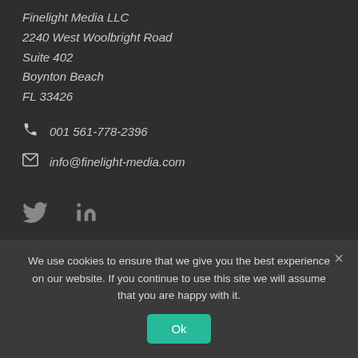Finelight Media LLC
2240 West Woolbright Road
Suite 402
Boynton Beach
FL 33426
001 561-778-2396
info@finelight-media.com
[Figure (other): Twitter and LinkedIn social media icons]
Contact us
We use cookies to ensure that we give you the best experience on our website. If you continue to use this site we will assume that you are happy with it.